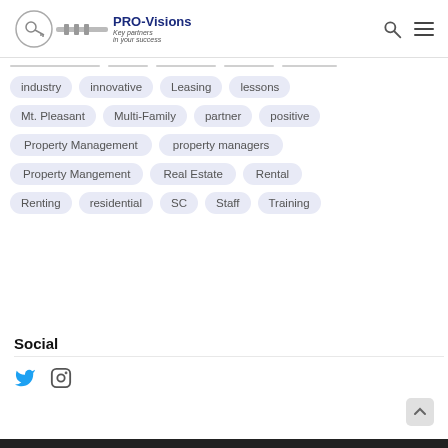PRO-Visions — Key partners in your success
industry
innovative
Leasing
lessons
Mt. Pleasant
Multi-Family
partner
positive
Property Management
property managers
Property Mangement
Real Estate
Rental
Renting
residential
SC
Staff
Training
Social